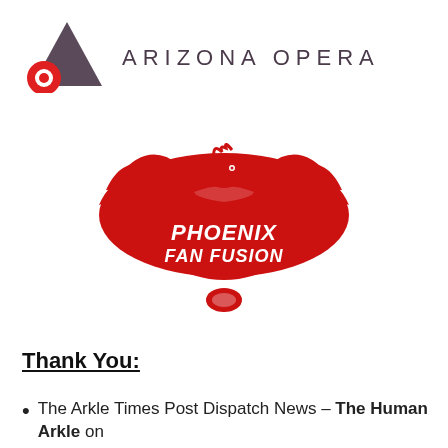[Figure (logo): Arizona Opera logo with stylized 'A' triangle in dark purple/mauve and a red circle with ring (representing an 'O'), followed by the text 'ARIZONA OPERA' in spaced dark purple uppercase letters]
[Figure (logo): Phoenix Fan Fusion logo featuring a red phoenix/thunderbird with wings spread wide, with 'PHOENIX FAN FUSION' text in white italic bold font centered on the bird's body, and a TM mark]
Thank You:
The Arkle Times Post Dispatch News – The Human Arkle on